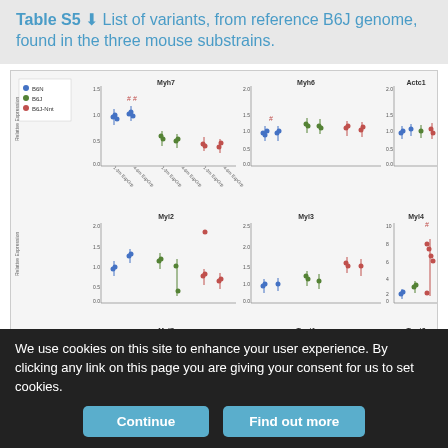Table S5 List of variants, from reference B6J genome, found in the three mouse substrains.
[Figure (scatter-plot): Multi-panel scatter plot showing relative expression of cardiac genes (Myh7, Myh6, Actc1, Myl2, Myl3, Myl4, Myl7, Tnnt1, Tnnt2) across three mouse substrains (B6N, B6J, B6J-Nnt) with data points at different ages. Legend shows blue=B6N, green=B6J, red=B6J-Nnt.]
We use cookies on this site to enhance your user experience. By clicking any link on this page you are giving your consent for us to set cookies.